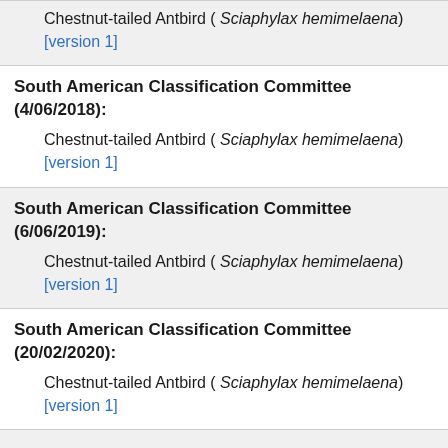Chestnut-tailed Antbird ( Sciaphylax hemimelaena) [version 1]
South American Classification Committee (4/06/2018):
Chestnut-tailed Antbird ( Sciaphylax hemimelaena) [version 1]
South American Classification Committee (6/06/2019):
Chestnut-tailed Antbird ( Sciaphylax hemimelaena) [version 1]
South American Classification Committee (20/02/2020):
Chestnut-tailed Antbird ( Sciaphylax hemimelaena) [version 1]